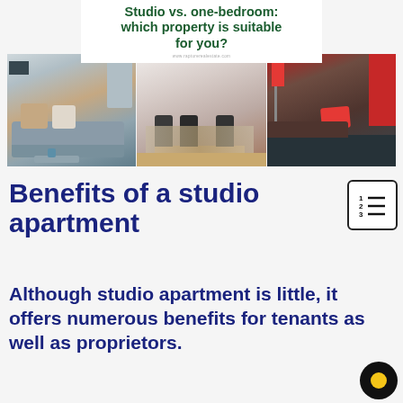[Figure (photo): Collage image showing three apartment interior photos (living room with sofa and cushions, dining area with table and chairs, bedroom with red accents) with a header title 'Studio vs. one-bedroom: which property is suitable for you?' and website URL www.rapturerealestate.com]
Benefits of a studio apartment
Although studio apartment is little, it offers numerous benefits for tenants as well as proprietors.